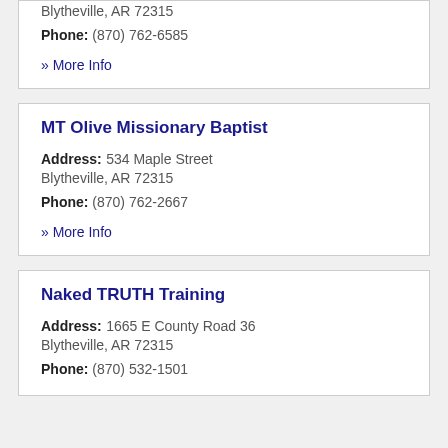Blytheville, AR 72315
Phone: (870) 762-6585
» More Info
MT Olive Missionary Baptist
Address: 534 Maple Street Blytheville, AR 72315
Phone: (870) 762-2667
» More Info
Naked TRUTH Training
Address: 1665 E County Road 36 Blytheville, AR 72315
Phone: (870) 532-1501